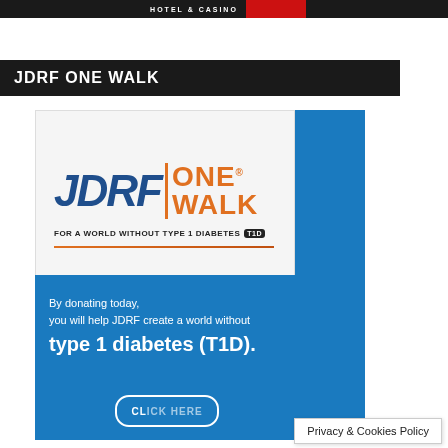HOTEL & CASINO
JDRF ONE WALK
[Figure (logo): JDRF ONE WALK logo with blue JDRF text and orange ONE WALK text, tagline 'FOR A WORLD WITHOUT TYPE 1 DIABETES T1D', followed by a donation promotional banner on blue background reading 'By donating today, you will help JDRF create a world without type 1 diabetes (T1D).' and a CLICK HERE button]
Privacy & Cookies Policy